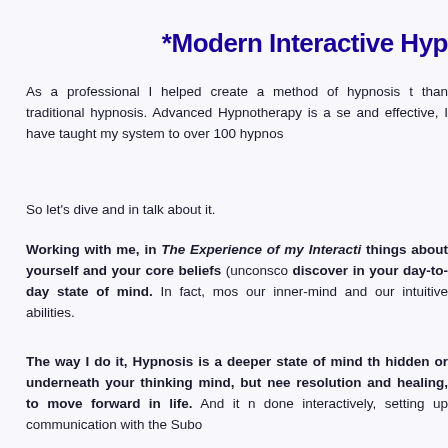*Modern Interactive Hyp
As a professional I helped create a method of hypnosis than traditional hypnosis. Advanced Hypnotherapy is a se and effective, I have taught my system to over 100 hypnos
So let's dive and in talk about it.
Working with me, in The Experience of my Interacti things about yourself and your core beliefs (unconsco discover in your day-to-day state of mind. In fact, mos our inner-mind and our intuitive abilities.
The way I do it, Hypnosis is a deeper state of mind th hidden or underneath your thinking mind, but nee resolution and healing, to move forward in life. And it n done interactively, setting up communication with the Subo